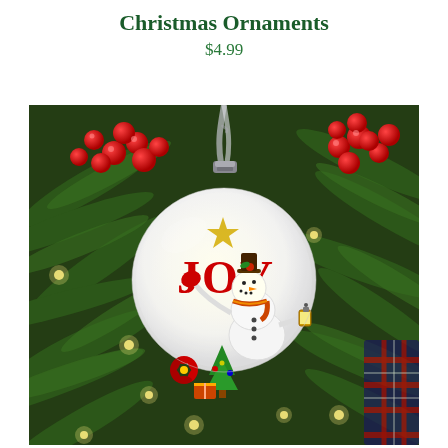Christmas Ornaments
$4.99
[Figure (photo): A glowing white glass Christmas ornament displaying a snowman with 'JOY' text in red letters, hanging from a Christmas tree decorated with red berries and pine branches. The ornament has a ribbon hanger and is lit from within.]